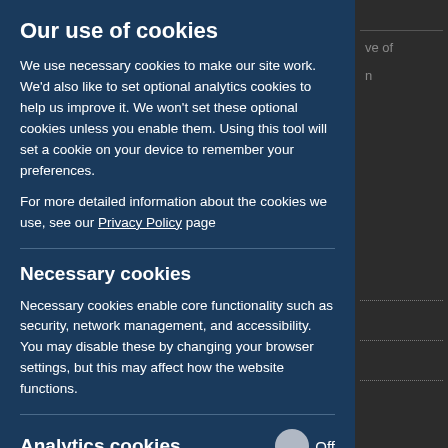Our use of cookies
We use necessary cookies to make our site work. We'd also like to set optional analytics cookies to help us improve it. We won't set these optional cookies unless you enable them. Using this tool will set a cookie on your device to remember your preferences.
For more detailed information about the cookies we use, see our Privacy Policy page
Necessary cookies
Necessary cookies enable core functionality such as security, network management, and accessibility. You may disable these by changing your browser settings, but this may affect how the website functions.
Analytics cookies Off